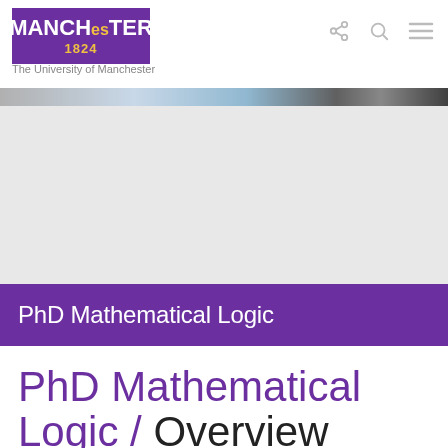[Figure (logo): University of Manchester logo: purple rectangle with white text MANCHESTER and gold 1824]
The University of Manchester
[Figure (photo): Banner strip of photos partially visible at the top of the page]
[Figure (photo): Grey placeholder area representing a hero image]
PhD Mathematical Logic
PhD Mathematical Logic / Overview